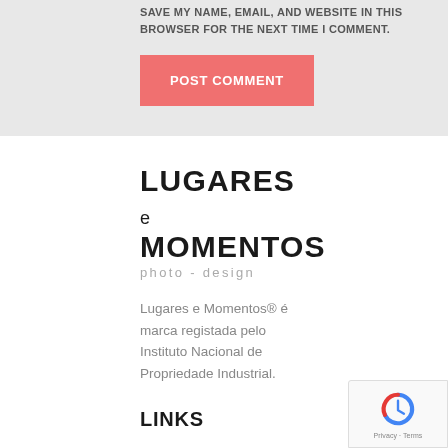SAVE MY NAME, EMAIL, AND WEBSITE IN THIS BROWSER FOR THE NEXT TIME I COMMENT.
POST COMMENT
LUGARES e MOMENTOS
photo - design
Lugares e Momentos® é marca registada pelo Instituto Nacional de Propriedade Industrial.
LINKS
Contacto
Feedback